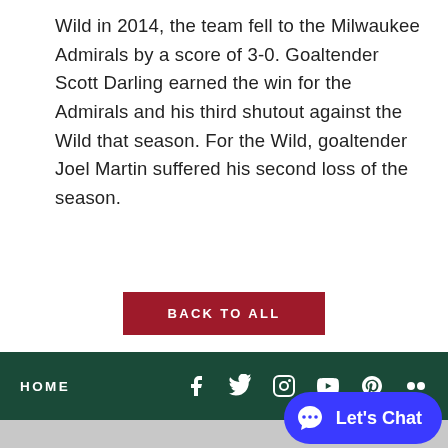Wild in 2014, the team fell to the Milwaukee Admirals by a score of 3-0. Goaltender Scott Darling earned the win for the Admirals and his third shutout against the Wild that season. For the Wild, goaltender Joel Martin suffered his second loss of the season.
[Figure (other): A dark red rectangular button with white uppercase text reading 'BACK TO ALL']
HOME
a carbonhouse e...